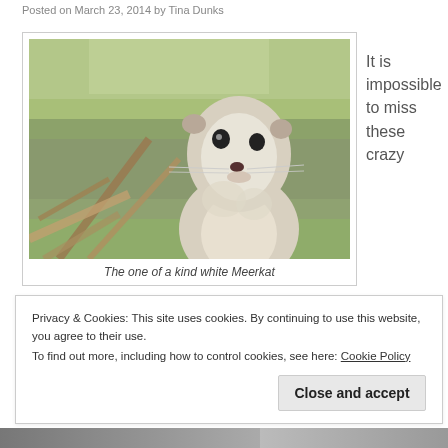Posted on March 23, 2014 by Tina Dunks
[Figure (photo): A white meerkat looking upward, photographed close-up with a blurred natural background of branches and greenery.]
The one of a kind white Meerkat
It is impossible to miss these crazy
Privacy & Cookies: This site uses cookies. By continuing to use this website, you agree to their use.
To find out more, including how to control cookies, see here: Cookie Policy
Close and accept